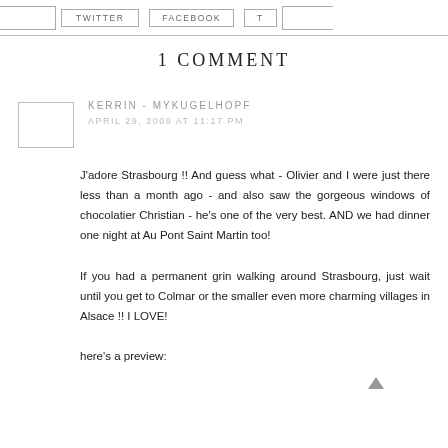TWITTER | FACEBOOK | T
1 COMMENT
KERRIN - MYKUGELHOPF
APRIL 29, 2009 AT 11:17 PM
J'adore Strasbourg !! And guess what - Olivier and I were just there less than a month ago - and also saw the gorgeous windows of chocolatier Christian - he's one of the very best. AND we had dinner one night at Au Pont Saint Martin too!
If you had a permanent grin walking around Strasbourg, just wait until you get to Colmar or the smaller even more charming villages in Alsace !! I LOVE!
here's a preview: